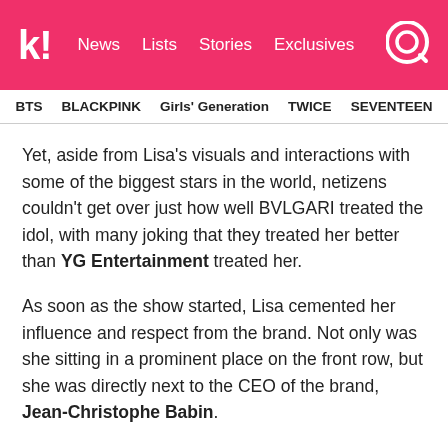koreaboo | News | Lists | Stories | Exclusives
BTS  BLACKPINK  Girls' Generation  TWICE  SEVENTEEN
Yet, aside from Lisa's visuals and interactions with some of the biggest stars in the world, netizens couldn't get over just how well BVLGARI treated the idol, with many joking that they treated her better than YG Entertainment treated her.
As soon as the show started, Lisa cemented her influence and respect from the brand. Not only was she sitting in a prominent place on the front row, but she was directly next to the CEO of the brand, Jean-Christophe Babin.